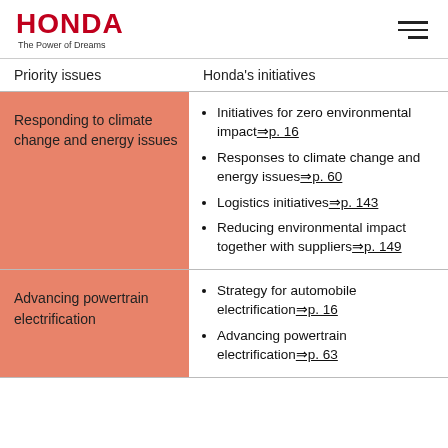HONDA The Power of Dreams
| Priority issues | Honda's initiatives |
| --- | --- |
| Responding to climate change and energy issues | Initiatives for zero environmental impact ⇒p. 16 / Responses to climate change and energy issues ⇒p. 60 / Logistics initiatives ⇒p. 143 / Reducing environmental impact together with suppliers ⇒p. 149 |
| Advancing powertrain electrification | Strategy for automobile electrification ⇒p. 16 / Advancing powertrain electrification ⇒p. 63 |